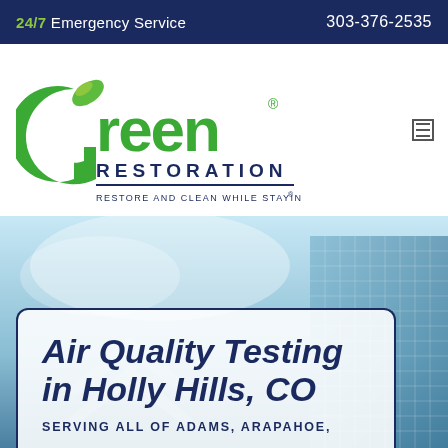24/7 Emergency Service   303-376-2535
[Figure (logo): Green Restoration logo with green leaf 'G' icon and text 'Green Restoration — Restore and Clean While Staying Green®']
[Figure (photo): Hero image of city buildings/van with overlay card reading 'Air Quality Testing in Holly Hills, CO — Serving all of Adams, Arapahoe,']
Air Quality Testing in Holly Hills, CO
SERVING ALL OF ADAMS, ARAPAHOE,